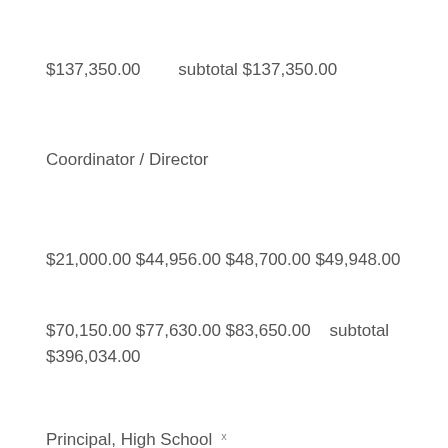$137,350.00       subtotal $137,350.00
Coordinator / Director
$21,000.00 $44,956.00 $48,700.00 $49,948.00
$70,150.00 $77,630.00 $83,650.00   subtotal $396,034.00
Principal, High School
x